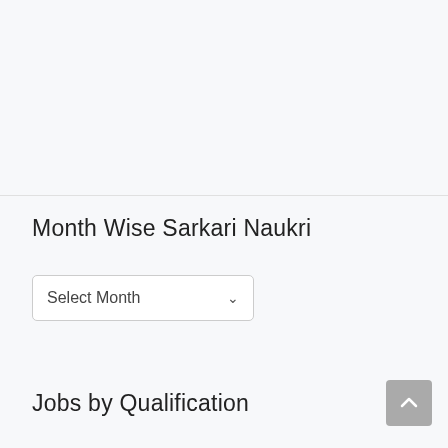Month Wise Sarkari Naukri
Select Month
Jobs by Qualification